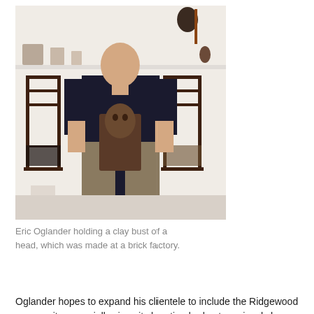[Figure (photo): A man (Eric Oglander) standing and holding a clay bust of a head in front of him. He is wearing a dark navy t-shirt and khaki pants. Behind him are antique wooden chairs and shelves with various artifacts and objects on a white wall.]
Eric Oglander holding a clay bust of a head, which was made at a brick factory.
Oglander hopes to expand his clientele to include the Ridgewood community, especially since its location had not previously been open to the public.
When he moved to Ridgewood five years ago, Oglander was already interested in the property on the corner of 60th